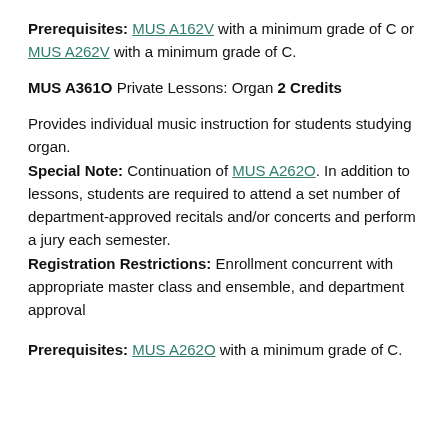Prerequisites: MUS A162V with a minimum grade of C or MUS A262V with a minimum grade of C.
MUS A361O Private Lessons: Organ 2 Credits
Provides individual music instruction for students studying organ. Special Note: Continuation of MUS A262O. In addition to lessons, students are required to attend a set number of department-approved recitals and/or concerts and perform a jury each semester. Registration Restrictions: Enrollment concurrent with appropriate master class and ensemble, and department approval
Prerequisites: MUS A262O with a minimum grade of C.